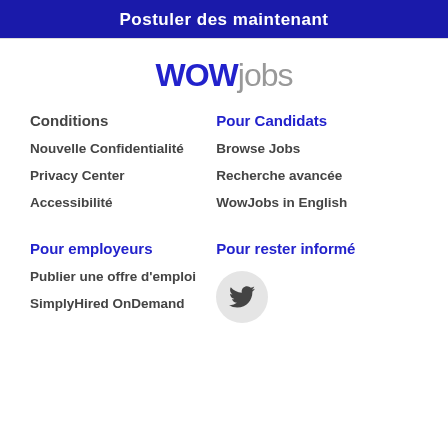Postuler des maintenant
[Figure (logo): WOWjobs logo with WOW in dark blue bold and jobs in gray]
Conditions
Pour Candidats
Nouvelle Confidentialité
Browse Jobs
Privacy Center
Recherche avancée
Accessibilité
WowJobs in English
Pour employeurs
Pour rester informé
Publier une offre d'emploi
[Figure (logo): Twitter bird icon inside a gray circular button]
SimplyHired OnDemand